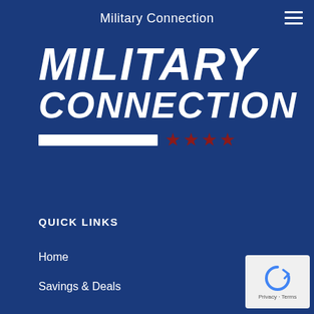Military Connection
[Figure (logo): Military Connection logo with bold white italic text on dark blue background, a white horizontal bar and four dark red stars below]
QUICK LINKS
Home
Savings & Deals